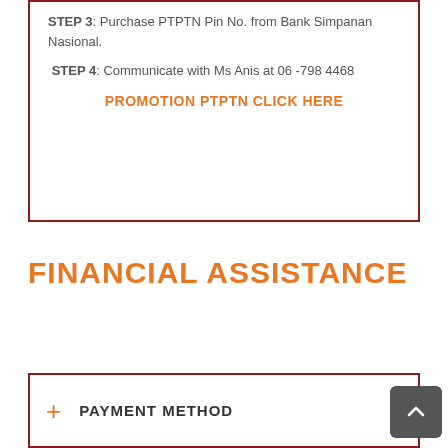STEP 3: Purchase PTPTN Pin No. from Bank Simpanan Nasional.
STEP 4: Communicate with Ms Anis at 06 -798 4468
PROMOTION PTPTN CLICK HERE
FINANCIAL ASSISTANCE
+ PAYMENT METHOD